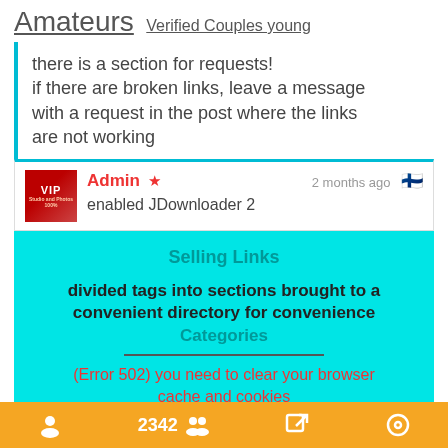Amateurs Verified Couples young
there is a section for requests!
if there are broken links, leave a message with a request in the post where the links are not working
Admin ★  2 months ago  [Finland flag]
enabled JDownloader 2
Selling Links
divided tags into sections brought to a convenient directory for convenience
Categories
(Error 502) you need to clear your browser cache and cookies
READ THE FAQ | Main Site
Site Mirrors
mygirls | Titty-Twister
2342